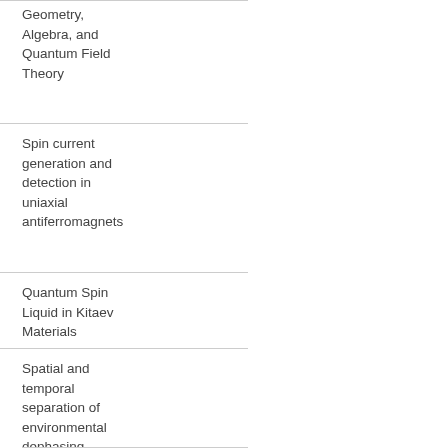Geometry, Algebra, and Quantum Field Theory
Spin current generation and detection in uniaxial antiferromagnets
Quantum Spin Liquid in Kitaev Materials
Spatial and temporal separation of environmental dephasing sources from solid-state quantum emitters